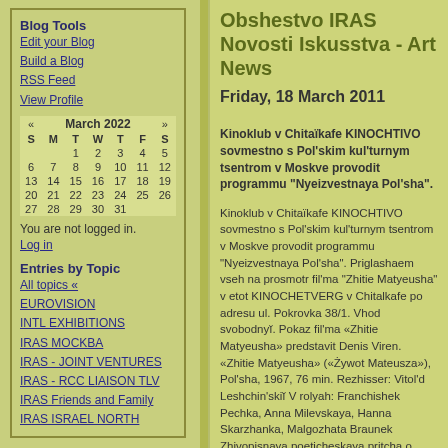Obshestvo IRAS Novosti Iskusstva - Art News
Friday, 18 March 2011
Blog Tools
Edit your Blog
Build a Blog
RSS Feed
View Profile
| « | March 2022 | » |  |  |  |  |
| --- | --- | --- | --- | --- | --- | --- |
| S | M | T | W | T | F | S |
|  |  | 1 | 2 | 3 | 4 | 5 |
| 6 | 7 | 8 | 9 | 10 | 11 | 12 |
| 13 | 14 | 15 | 16 | 17 | 18 | 19 |
| 20 | 21 | 22 | 23 | 24 | 25 | 26 |
| 27 | 28 | 29 | 30 | 31 |  |  |
You are not logged in.
Log in
Entries by Topic
All topics  «
EUROVISION
INTL EXHIBITIONS
IRAS MOCKBA
IRAS - JOINT VENTURES
IRAS - RCC LIAISON TLV
IRAS Friends and Family
IRAS ISRAEL NORTH
Kinoklub v Chitaïkafe KINOCHTIVO sovmestno s Pol'skim kul'turnym tsentrom v Moskve provodit programmu "Nyeizvestnaya Pol'sha". Kinoklub v Chitaïkafe KINOCHTIVO sovmestno s Pol'skim kul'turnym tsentrom v Moskve provodit programmu "Nyeizvestnaya Pol'sha". Priglashaem vseh na prosmotr fil'ma "Zhitie Matyeusha" v etot KINOCHETVERG v Chitalkafe po adresu ul. Pokrovka 38/1. Vhod svobodnyĭ. Pokaz fil'ma «Zhitie Matyeusha» predstavit Denis Viren. «Zhitie Matyeusha» («Żywot Mateusza»), Pol'sha, 1967, 76 min. Rezhisser: Vitol'd Leshchin'skiĭ V rolyah: Franchishek Pechka, Anna Milevskaya, Hanna Skarzhanka, Malgozhata Braunek Zhivopisnaya poeticheskaya pritcha o derevenskom chudake, zhivushchem v garmonii s prirodoĭ, no ne umyeyushchem naĭti sebe mesta sredi lyudyeĭ, po mere nyeuklonnogo dvizheniya dyeĭstviya k tragedii, stanovit-sya universal'noĭ istoriyet